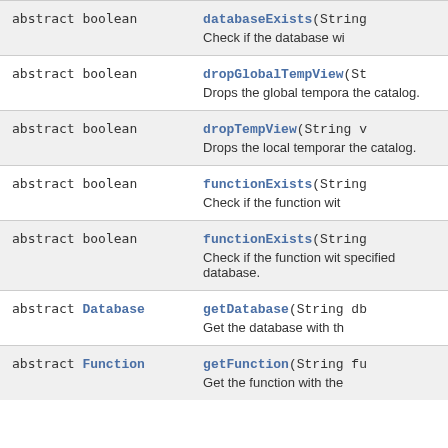| Return Type | Method |
| --- | --- |
| abstract boolean | databaseExists(String
Check if the database wi... |
| abstract boolean | dropGlobalTempView(St...
Drops the global tempora... the catalog. |
| abstract boolean | dropTempView(String v
Drops the local temporar... the catalog. |
| abstract boolean | functionExists(String
Check if the function wit... |
| abstract boolean | functionExists(String
Check if the function wit... specified database. |
| abstract Database | getDatabase(String db
Get the database with th... |
| abstract Function | getFunction(String fu
Get the function with the... |